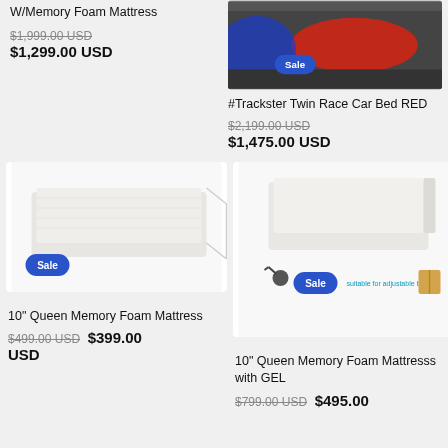W/Memory Foam Mattress
$1,999.00 USD (strikethrough) $1,299.00 USD
[Figure (photo): Race car bed in red with blue lighting, Sale badge overlay]
#Trackster Twin Race Car Bed RED
$2,199.00 USD (strikethrough) $1,475.00 USD
[Figure (photo): White memory foam mattress slab, Sale badge overlay]
10" Queen Memory Foam Mattress
$499.00 USD (strikethrough) $399.00 USD
[Figure (photo): White memory foam mattress with GEL, Sale badge, suitable for adjustable base label]
10" Queen Memory Foam Mattresss with GEL
$799.00 USD (strikethrough) $495.00